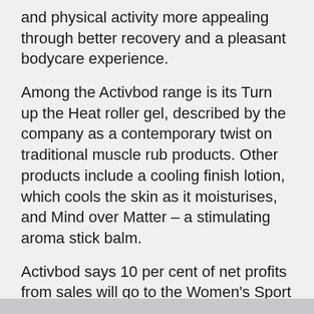and physical activity more appealing through better recovery and a pleasant bodycare experience.
Among the Activbod range is its Turn up the Heat roller gel, described by the company as a contemporary twist on traditional muscle rub products. Other products include a cooling finish lotion, which cools the skin as it moisturises, and Mind over Matter – a stimulating aroma stick balm.
Activbod says 10 per cent of net profits from sales will go to the Women's Sport Trust charity.
fitness-kit.net keyword: Activbod